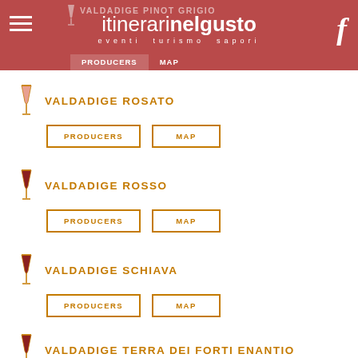itinerarinelgusto — eventi turismo sapori
VALDADIGE ROSATO
PRODUCERS | MAP
VALDADIGE ROSSO
PRODUCERS | MAP
VALDADIGE SCHIAVA
PRODUCERS | MAP
VALDADIGE TERRA DEI FORTI ENANTIO
PRODUCERS | MAP